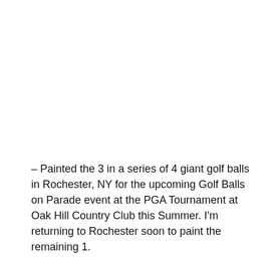– Painted the 3 in a series of 4 giant golf balls in Rochester, NY for the upcoming Golf Balls on Parade event at the PGA Tournament at Oak Hill Country Club this Summer. I'm returning to Rochester soon to paint the remaining 1.